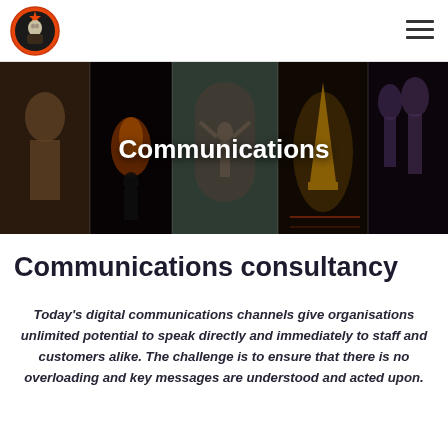[Figure (logo): Circular logo with red/orange border, dark background, figure of a person inside, star shape]
[Figure (illustration): Hamburger menu icon (three horizontal lines)]
[Figure (photo): Hero banner collage of 5 panels: ancient statue, dark silhouette with fire, statue in archway (Lenin), Eiffel Tower lit at night, Saint Basil's Cathedral Moscow. All panels have dark overlay. Text 'Communications' overlaid in white bold.]
Communications consultancy
Today's digital communications channels give organisations unlimited potential to speak directly and immediately to staff and customers alike. The challenge is to ensure that there is no overloading and key messages are understood and acted upon.